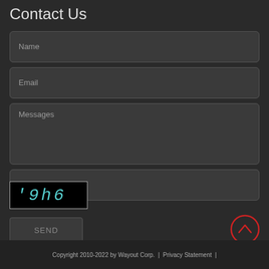Contact Us
Name
Email
Messages
Captcha
[Figure (other): CAPTCHA image showing characters: r 9 h 6 in teal/cyan color on black background]
SEND
[Figure (other): Scroll-to-top button: circle with upward chevron arrow, red border]
Copyright 2010-2022 by Wayout Corp.  |  Privacy Statement  |